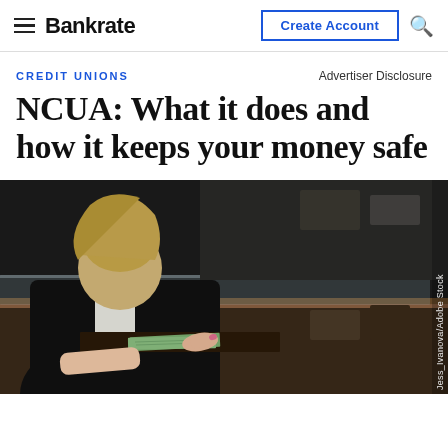Bankrate | Create Account
CREDIT UNIONS
Advertiser Disclosure
NCUA: What it does and how it keeps your money safe
[Figure (photo): A bank teller at a counter handing cash/money to a customer, photographed from behind the teller. The scene shows a bank counter with a glass divider. Credit: Jess_Ivanova/Adobe Stock]